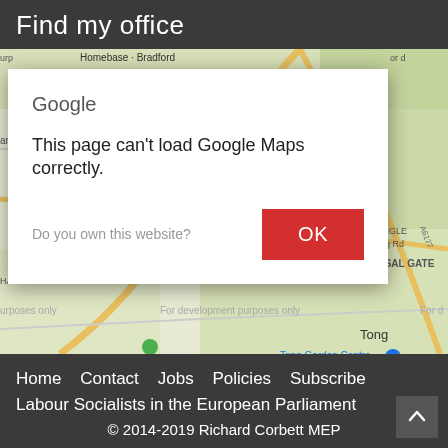Find my office
[Figure (screenshot): Google Maps embed showing Bradford area (Homebase Bradford, Holme Top, Tyersal Gate, Tong Garden Centre) with a Google Maps error dialog overlay saying 'This page can't load Google Maps correctly.' with an OK button and 'Do you own this website?' text.]
Home   Contact   Jobs   Policies   Subscribe   Labour Socialists in the European Parliament
© 2014-2019 Richard Corbett MEP